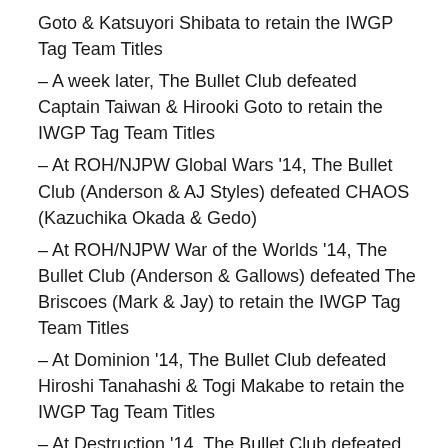Goto & Katsuyori Shibata to retain the IWGP Tag Team Titles
– A week later, The Bullet Club defeated Captain Taiwan & Hirooki Goto to retain the IWGP Tag Team Titles
– At ROH/NJPW Global Wars '14, The Bullet Club (Anderson & AJ Styles) defeated CHAOS (Kazuchika Okada & Gedo)
– At ROH/NJPW War of the Worlds '14, The Bullet Club (Anderson & Gallows) defeated The Briscoes (Mark & Jay) to retain the IWGP Tag Team Titles
– At Dominion '14, The Bullet Club defeated Hiroshi Tanahashi & Togi Makabe to retain the IWGP Tag Team Titles
– At Destruction '14, The Bullet Club defeated CHAOS (Kazuchika Okada & YOSHI-HASHI) to retain the IWGP Tag Team Titles